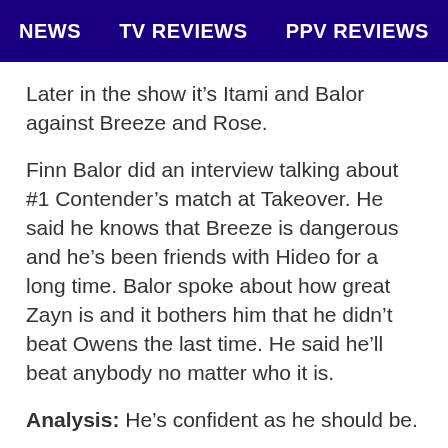NEWS   TV REVIEWS   PPV REVIEWS
Later in the show it's Itami and Balor against Breeze and Rose.
Finn Balor did an interview talking about #1 Contender's match at Takeover. He said he knows that Breeze is dangerous and he's been friends with Hideo for a long time. Balor spoke about how great Zayn is and it bothers him that he didn't beat Owens the last time. He said he'll beat anybody no matter who it is.
Analysis: He's confident as he should be.
(Commercial – Promoting WWE Payback on Sunday.)